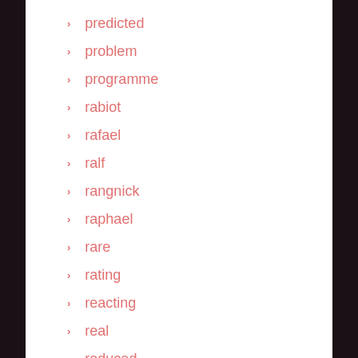predicted
problem
programme
rabiot
rafael
ralf
rangnick
raphael
rare
rating
reacting
real
reduced
revealed
robin